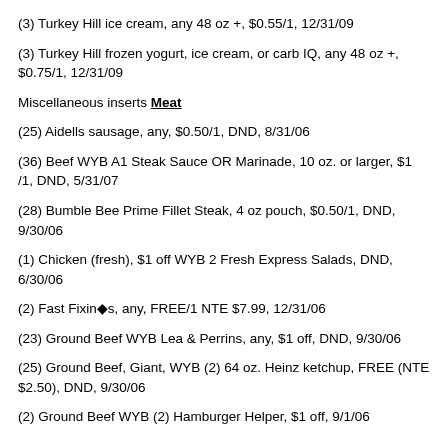(3) Turkey Hill ice cream, any 48 oz +, $0.55/1, 12/31/09
(3) Turkey Hill frozen yogurt, ice cream, or carb IQ, any 48 oz +, $0.75/1, 12/31/09
Miscellaneous inserts Meat
(25) Aidells sausage, any, $0.50/1, DND, 8/31/06
(36) Beef WYB A1 Steak Sauce OR Marinade, 10 oz. or larger, $1 /1, DND, 5/31/07
(28) Bumble Bee Prime Fillet Steak, 4 oz pouch, $0.50/1, DND, 9/30/06
(1) Chicken (fresh), $1 off WYB 2 Fresh Express Salads, DND, 6/30/06
(2) Fast Fixin◆s, any, FREE/1 NTE $7.99, 12/31/06
(23) Ground Beef WYB Lea & Perrins, any, $1 off, DND, 9/30/06
(25) Ground Beef, Giant, WYB (2) 64 oz. Heinz ketchup, FREE (NTE $2.50), DND, 9/30/06
(2) Ground Beef WYB (2) Hamburger Helper, $1 off, 9/1/06